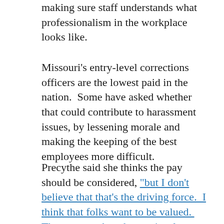making sure staff understands what professionalism in the workplace looks like.
Missouri's entry-level corrections officers are the lowest paid in the nation.  Some have asked whether that could contribute to harassment issues, by lessening morale and making the keeping of the best employees more difficult.
Precythe said she thinks the pay should be considered, "but I don't believe that that's the driving force.  I think that folks want to be valued.  They want to be taken seriously.  They want to be appreciated.  They want to be recognized.  They want to be acknowledged for the good things … this is about a good working environment for all employees regardless of